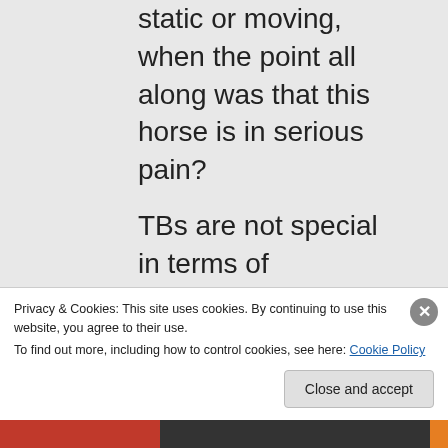static or moving, when the point all along was that this horse is in serious pain?
TBs are not special in terms of biomechanical rules. A Draft horse is not better designed to carry weight
Privacy & Cookies: This site uses cookies. By continuing to use this website, you agree to their use.
To find out more, including how to control cookies, see here: Cookie Policy